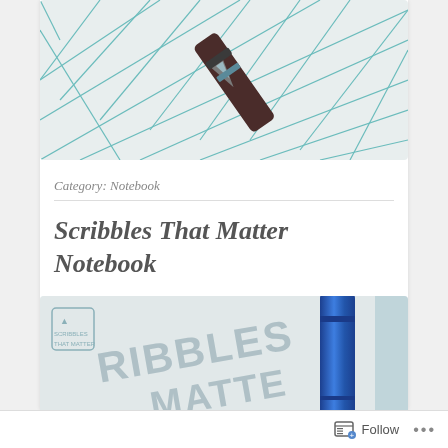[Figure (photo): Close-up photo of a fountain pen nib resting on paper with geometric teal/blue line patterns drawn on it]
Category: Notebook
Scribbles That Matter Notebook
[Figure (photo): Close-up photo of a Scribbles That Matter notebook cover with a blue fountain pen resting on it, showing large text 'SCRIBBLES MATTER']
Follow